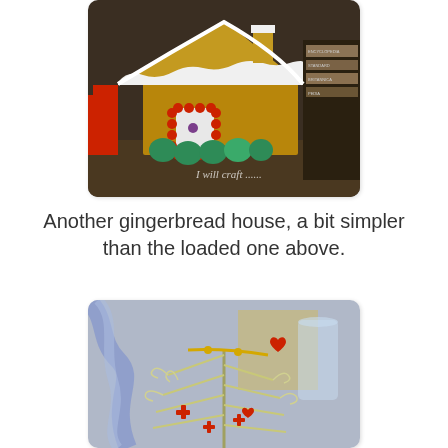[Figure (photo): A gingerbread house made from cardboard/craft materials, decorated with red bead border around the door, green candy-like decorations along the base, white icing on the roof, with books visible in the background. Watermark text reads 'I will craft......']
Another gingerbread house, a bit simpler than the loaded one above.
[Figure (photo): A silver/white tinsel Christmas tree decorated with red ornaments and ribbon, with various holiday items in the background including a glass pitcher and a small sign with a red heart.]